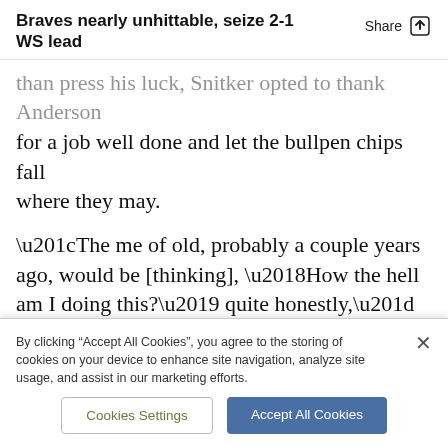Braves nearly unhittable, seize 2-1 WS lead
than press his luck, Snitker opted to thank Anderson for a job well done and let the bullpen chips fall where they may.
“The me of old, probably a couple years ago, would be [thinking], ‘How the hell am I doing this?’ quite honestly,” Snitker said. “But the pitch count was such that he wasn’t going nine innings. So it wasn’t about that.”
By clicking “Accept All Cookies”, you agree to the storing of cookies on your device to enhance site navigation, analyze site usage, and assist in our marketing efforts.
Cookies Settings
Accept All Cookies